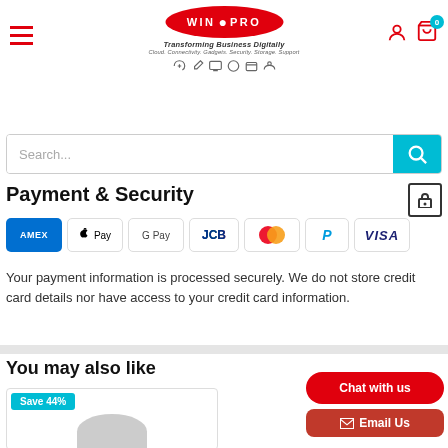[Figure (logo): WIN PRO logo with red oval, tagline 'Transforming Business Digitally', subtagline 'Cloud. Connectivity. Gadgets. Security. Storage. Support', and service icons row]
[Figure (screenshot): Search bar with placeholder 'Search...' and teal search button]
Payment & Security
[Figure (infographic): Payment method logos: American Express, Apple Pay, Google Pay, JCB, Mastercard, PayPal, Visa]
Your payment information is processed securely. We do not store credit card details nor have access to your credit card information.
You may also like
[Figure (screenshot): Product card with 'Save 44%' badge and partial product image]
[Figure (screenshot): Chat with us button (red rounded) and Email Us button overlay]